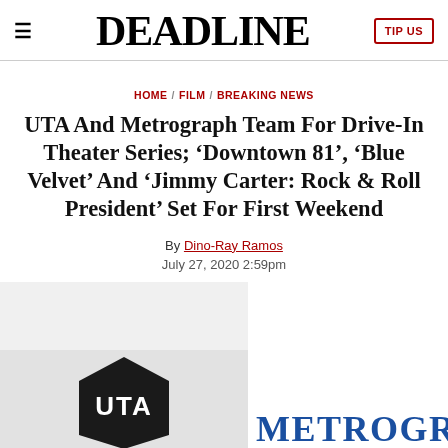DEADLINE | TIP US
HOME / FILM / BREAKING NEWS
UTA And Metrograph Team For Drive-In Theater Series; ‘Downtown 81’, ‘Blue Velvet’ And ‘Jimmy Carter: Rock & Roll President’ Set For First Weekend
By Dino-Ray Ramos
July 27, 2020 2:59pm
[Figure (photo): Split image showing UTA logo (black pentagon with white UTA text) on left and METROGRAPH logo (bold blue serif text) on right]